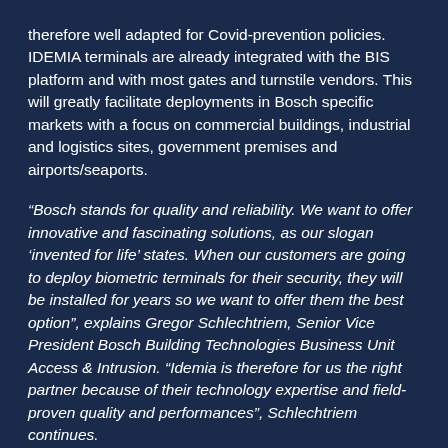therefore well adapted for Covid-prevention policies. IDEMIA terminals are already integrated with the BIS platform and with most gates and turnstile vendors. This will greatly facilitate deployments in Bosch specific markets with a focus on commercial buildings, industrial and logistics sites, government premises and airports/seaports.
“Bosch stands for quality and reliability. We want to offer innovative and fascinating solutions, as our slogan ‘invented for life’ states. When our customers are going to deploy biometric terminals for their security, they will be installed for years so we want to offer them the best option”, explains Gregor Schlechtriem, Senior Vice President Bosch Building Technologies Business Unit Access & Intrusion. “Idemia is therefore for us the right partner because of their technology expertise and field-proven quality and performances”, Schlechtriem continues.